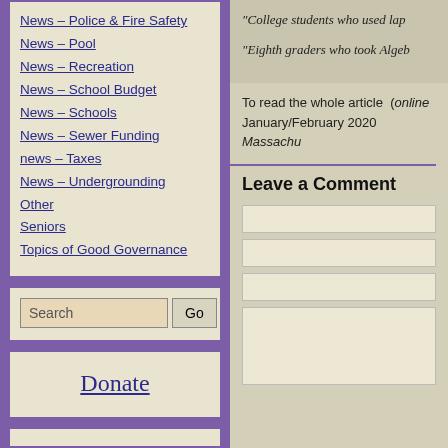News – Police & Fire Safety
News – Pool
News – Recreation
News – School Budget
News – Schools
News – Sewer Funding
news – Taxes
News – Undergrounding
Other
Seniors
Topics of Good Governance
"College students who used lap
"Eighth graders who took Algeb
To read the whole article  (online January/February 2020 Massachu
Leave a Comment
Donate